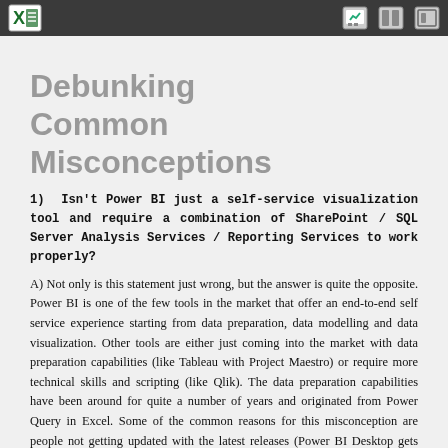[toolbar with Excel icon and navigation icons]
Debunking Common Misconceptions
1)  Isn't Power BI just a self-service visualization tool and require a combination of SharePoint / SQL Server Analysis Services / Reporting Services to work properly?
A) Not only is this statement just wrong, but the answer is quite the opposite. Power BI is one of the few tools in the market that offer an end-to-end self service experience starting from data preparation, data modelling and data visualization. Other tools are either just coming into the market with data preparation capabilities (like Tableau with Project Maestro) or require more technical skills and scripting (like Qlik). The data preparation capabilities have been around for quite a number of years and originated from Power Query in Excel. Some of the common reasons for this misconception are people not getting updated with the latest releases (Power BI Desktop gets updated once every month with new features) and still thinking of Power BI as the underwhelming old version called Power View which required all